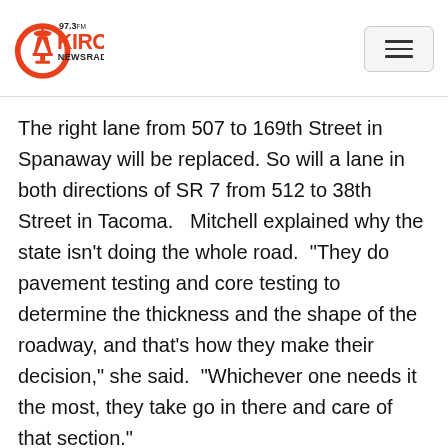[Figure (logo): KIRO 97.3FM NewsRadio logo with Space Needle icon in orange circle]
The right lane from 507 to 169th Street in Spanaway will be replaced. So will a lane in both directions of SR 7 from 512 to 38th Street in Tacoma.   Mitchell explained why the state isn't doing the whole road.  "They do pavement testing and core testing to determine the thickness and the shape of the roadway, and that's how they make their decision," she said.  "Whichever one needs it the most, they take go in there and care of that section."